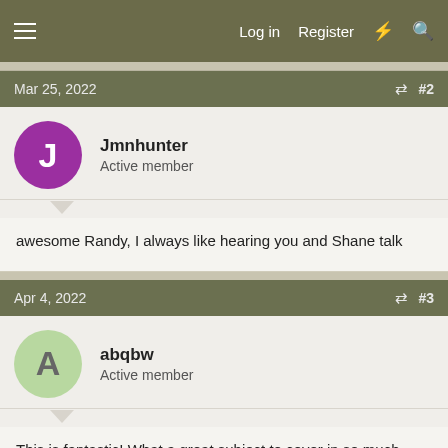Log in   Register
Mar 25, 2022   #2
Jmnhunter
Active member
awesome Randy, I always like hearing you and Shane talk
Apr 4, 2022   #3
abqbw
Active member
This is fantastic! What a great subject to cover in so much depth with one of the leading experts on the subject. I can't wait to listen to all the episodes.